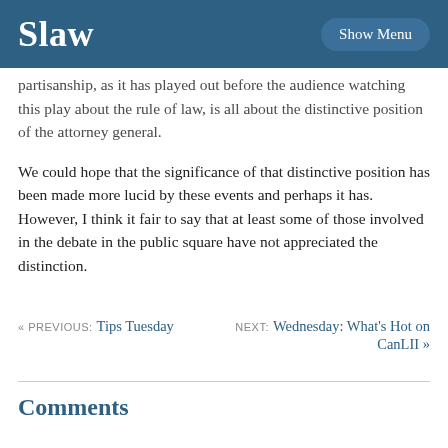Slaw | Show Menu
partisanship, as it has played out before the audience watching this play about the rule of law, is all about the distinctive position of the attorney general.
We could hope that the significance of that distinctive position has been made more lucid by these events and perhaps it has. However, I think it fair to say that at least some of those involved in the debate in the public square have not appreciated the distinction.
« PREVIOUS: Tips Tuesday    NEXT: Wednesday: What's Hot on CanLII »
Comments